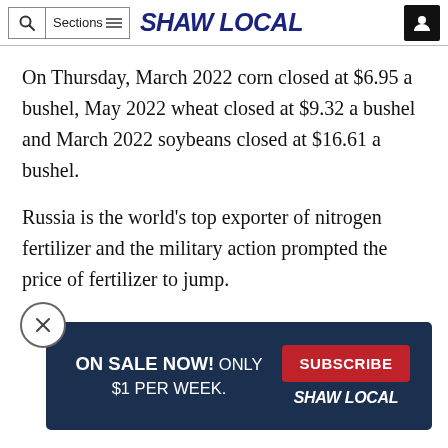Shaw Local
On Thursday, March 2022 corn closed at $6.95 a bushel, May 2022 wheat closed at $9.32 a bushel and March 2022 soybeans closed at $16.61 a bushel.
Russia is the world’s top exporter of nitrogen fertilizer and the military action prompted the price of fertilizer to jump.
[Figure (other): Advertisement banner: ON SALE NOW! ONLY $1 PER WEEK. with a SUBSCRIBE button and Shaw Local logo on dark navy background.]